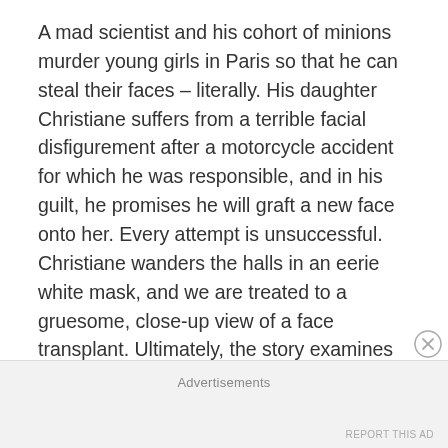A mad scientist and his cohort of minions murder young girls in Paris so that he can steal their faces – literally. His daughter Christiane suffers from a terrible facial disfigurement after a motorcycle accident for which he was responsible, and in his guilt, he promises he will graft a new face onto her. Every attempt is unsuccessful. Christiane wanders the halls in an eerie white mask, and we are treated to a gruesome, close-up view of a face transplant. Ultimately, the story examines how men use female bodies as canvasses to represent and expiate their own guilt, especially for violence they have committed against women. It also examines the complicity of other women – the mad doctor's closest
Advertisements